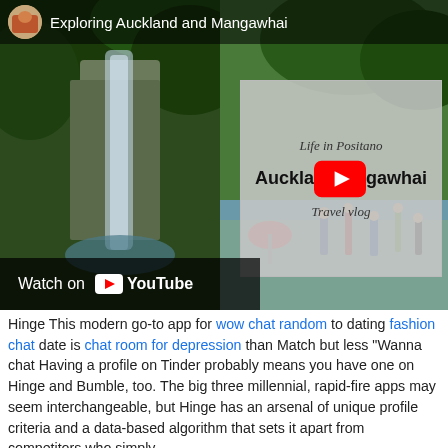[Figure (screenshot): YouTube video thumbnail for 'Exploring Auckland and Mangawhai' travel vlog, showing a waterfall and beach scene with a YouTube play button overlay card. Includes 'Watch on YouTube' bar at bottom left.]
Hinge This modern go-to app for wow chat random to dating fashion chat date is chat room for depression than Match but less "Wanna chat Having a profile on Tinder probably means you have one on Hinge and Bumble, too. The big three millennial, rapid-fire apps may seem interchangeable, but Hinge has an arsenal of unique profile criteria and a data-based algorithm that sets it apart from competitors who simply